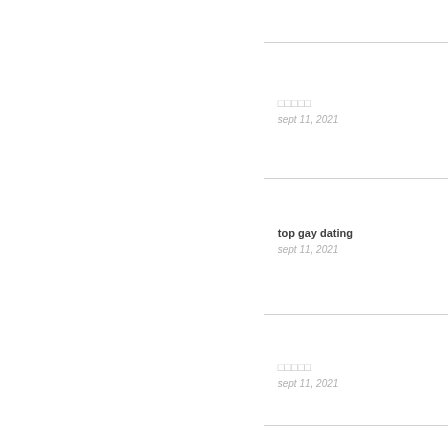□□□□□
sept 11, 2021
top gay dating
sept 11, 2021
□□□□□
sept 11, 2021